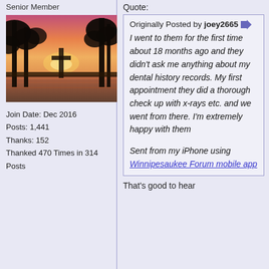Senior Member
[Figure (photo): Avatar photo showing silhouette of trees against a sunset/sunrise sky with water in the background, pink and orange hues]
Join Date: Dec 2016
Posts: 1,441
Thanks: 152
Thanked 470 Times in 314 Posts
Quote:
Originally Posted by joey2665 [arrow icon]
I went to them for the first time about 18 months ago and they didn't ask me anything about my dental history records. My first appointment they did a thorough check up with x-rays etc. and we went from there. I'm extremely happy with them

Sent from my iPhone using Winnipesaukee Forum mobile app
That's good to hear